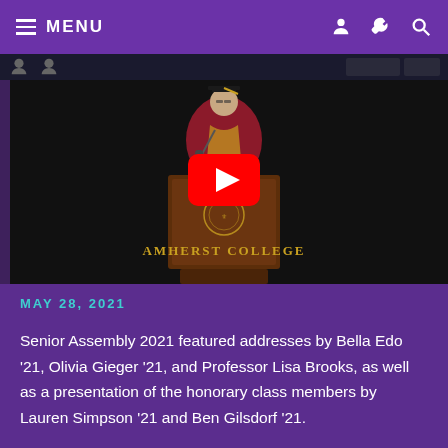MENU
[Figure (screenshot): YouTube video thumbnail showing a person in academic regalia speaking at an Amherst College podium, with a red YouTube play button overlay in the center. A dark top bar with user icons is visible at the top of the video frame.]
MAY 28, 2021
Senior Assembly 2021 featured addresses by Bella Edo '21, Olivia Gieger '21, and Professor Lisa Brooks, as well as a presentation of the honorary class members by Lauren Simpson '21 and Ben Gilsdorf '21.